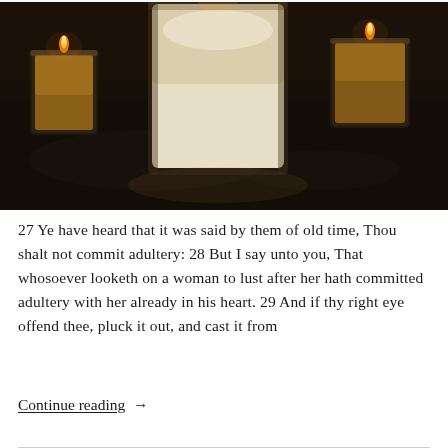[Figure (photo): Three glass candles with flames glowing against a dark background. The center candle is larger and cream-colored; the left and right candles are smaller with amber-toned wax. The flames are visible at the top of each candle.]
27 Ye have heard that it was said by them of old time, Thou shalt not commit adultery: 28 But I say unto you, That whosoever looketh on a woman to lust after her hath committed adultery with her already in his heart. 29 And if thy right eye offend thee, pluck it out, and cast it from
Continue reading  →